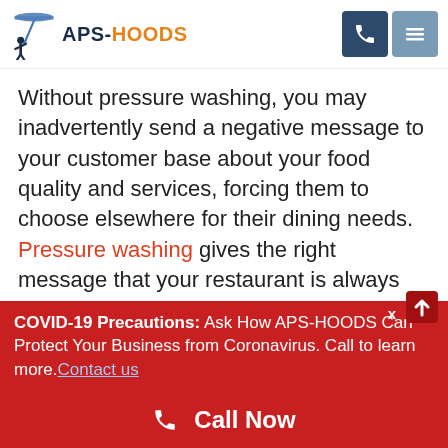[Figure (logo): APS-HOODS logo with figure holding a cleaning wand and stylized dish/hood above, text reads APS-HOODS]
Without pressure washing, you may inadvertently send a negative message to your customer base about your food quality and services, forcing them to choose elsewhere for their dining needs. Pressure washing gives the right message that your restaurant is always open and available for a fine dining experience.
COVID-19 Precautions: Ask How APS-HOODS Can Protect Your Business from Coronavirus. Call to learn more. Contact us
Call Now